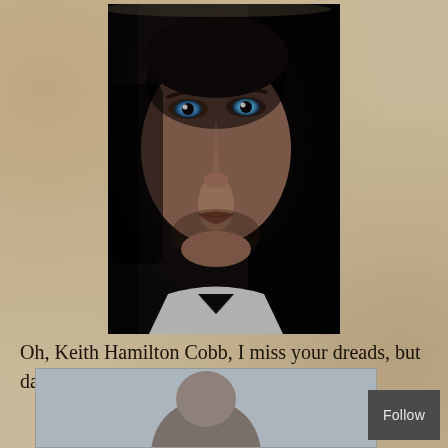[Figure (photo): Close-up portrait photo of a man with piercing blue eyes, dark hair, stubble beard, dramatic dark lighting against a dark background, wearing a suit]
Oh, Keith Hamilton Cobb, I miss your dreads, but damn, you're still beautiful. So beautiful.
[Figure (photo): Partial photo of a man with curly dark hair, outdoor setting, partially cropped]